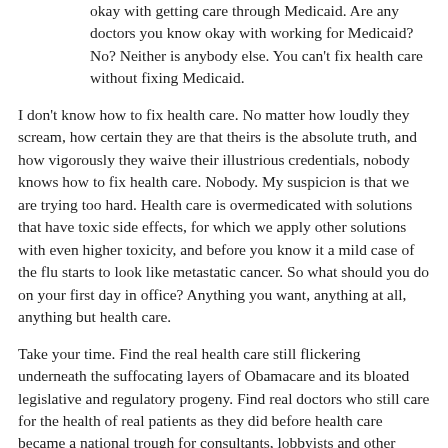okay with getting care through Medicaid. Are any doctors you know okay with working for Medicaid? No? Neither is anybody else. You can't fix health care without fixing Medicaid.
I don't know how to fix health care. No matter how loudly they scream, how certain they are that theirs is the absolute truth, and how vigorously they waive their illustrious credentials, nobody knows how to fix health care. Nobody. My suspicion is that we are trying too hard. Health care is overmedicated with solutions that have toxic side effects, for which we apply other solutions with even higher toxicity, and before you know it a mild case of the flu starts to look like metastatic cancer. So what should you do on your first day in office? Anything you want, anything at all, anything but health care.
Take your time. Find the real health care still flickering underneath the suffocating layers of Obamacare and its bloated legislative and regulatory progeny. Find real doctors who still care for the health of real patients as they did before health care became a national trough for consultants, lobbyists and other fancy thieves. Beware the experts